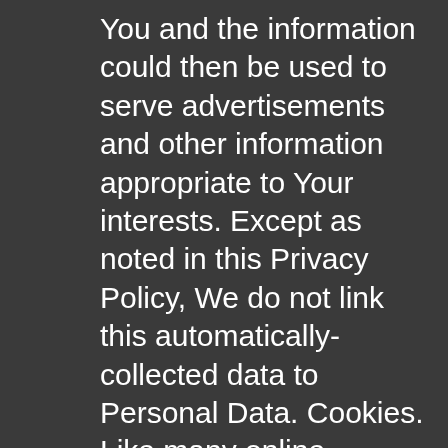You and the information could then be used to serve advertisements and other information appropriate to Your interests. Except as noted in this Privacy Policy, We do not link this automatically-collected data to Personal Data. Cookies. Like many online services, We use cookies to collect information. “Cookies” are small pieces of information that a website sends to Your computer’s hard drive while You are viewing the website. We may use both session Cookies (which expire once You close Your web browser) and persistent Cookies (which stay on